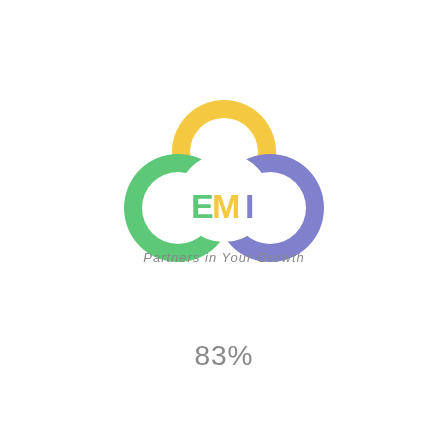[Figure (logo): EMI logo with three overlapping rings (green left, yellow top, blue/purple right) forming a cloud shape, with letters E, M, I in the center and tagline 'Partners in Your Growth' below]
83%